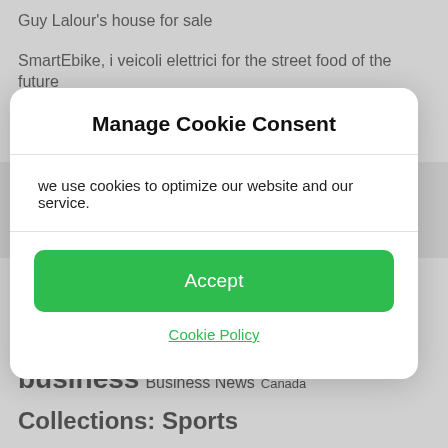Guy Lalour's house for sale
SmartEbike, i veicoli elettrici for the street food of the future
Valentina De Santis is the Migliore Hotelier dell'anno alla Virtuoso Travel Week 2022
Manage Cookie Consent
we use cookies to optimize our website and our service.
Accept
Cookie Policy
America Asia Associated Press Australia Australia and New Zealand basketball bse business Business News Canada Collections: Sports